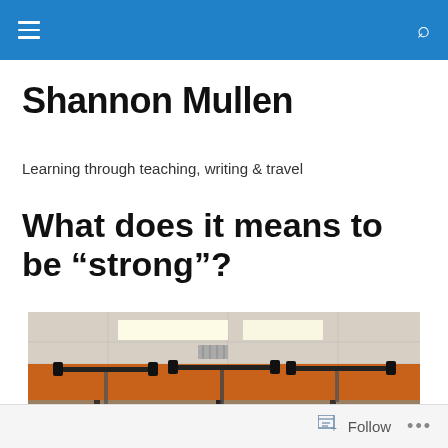[navigation bar with hamburger menu and search icon]
Shannon Mullen
Learning through teaching, writing & travel
What does it means to be “strong”?
[Figure (photo): People in a gym lifting barbells overhead, orange wall in background, fluorescent ceiling lights]
Follow ...